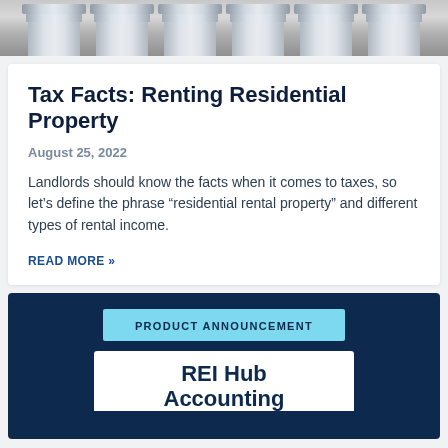[Figure (photo): Decorative image of classical stone columns/pillars at the top of the page]
Tax Facts: Renting Residential Property
August 25, 2022
Landlords should know the facts when it comes to taxes, so let's define the phrase “residential rental property” and different types of rental income.
READ MORE »
[Figure (infographic): Dark navy blue product announcement block with light blue banner reading PRODUCT ANNOUNCEMENT and white card showing REI Hub Accounting text below]